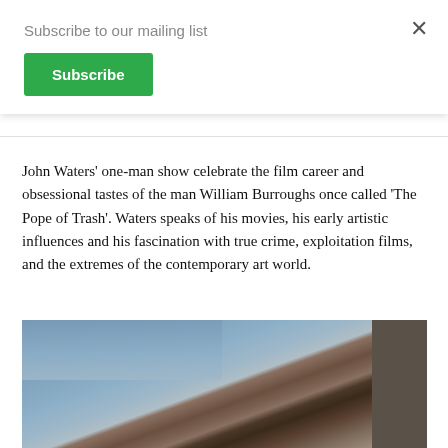Subscribe to our mailing list
Subscribe
John Waters' one-man show celebrate the film career and obsessional tastes of the man William Burroughs once called 'The Pope of Trash'. Waters speaks of his movies, his early artistic influences and his fascination with true crime, exploitation films, and the extremes of the contemporary art world.
[Figure (photo): A person standing with a horse near a barn or stable structure, outdoor setting with a blue sky in the background.]